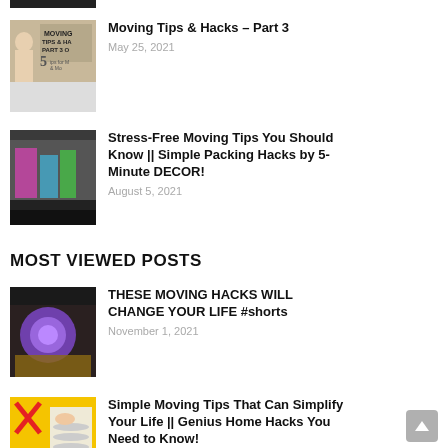[Figure (photo): Black bar / partial thumbnail at top]
Moving Tips & Hacks – Part 3
May 25, 2021
Stress-Free Moving Tips You Should Know || Simple Packing Hacks by 5-Minute DECOR!
August 5, 2021
MOST VIEWED POSTS
THESE MOVING HACKS WILL CHANGE YOUR LIFE #shorts
November 1, 2021
Simple Moving Tips That Can Simplify Your Life || Genius Home Hacks You Need to Know!
August 29, 2021